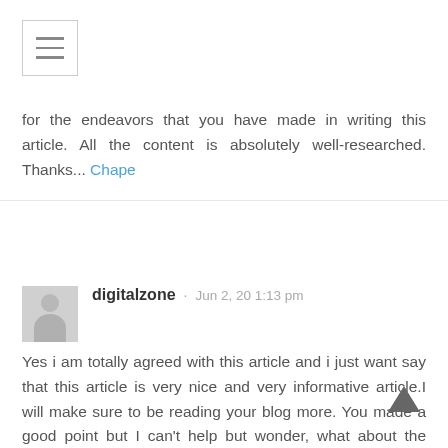[Figure (other): Hamburger menu icon button with three horizontal lines, bordered box]
for the endeavors that you have made in writing this article. All the content is absolutely well-researched. Thanks... Chape
digitalzone · Jun 2, 20 1:13 pm
Yes i am totally agreed with this article and i just want say that this article is very nice and very informative article.I will make sure to be reading your blog more. You made a good point but I can't help but wonder, what about the other side? !!!!!!Thanks Ramen en deuren Antwerpen
digitalzone · Jun 2, 20 1:17 pm
I really thank you for the valuable info on this great subject and look forward to more great posts. Thanks a lot for enjoying this beauty article with me. I am appreciating it very much! Looking forward to another